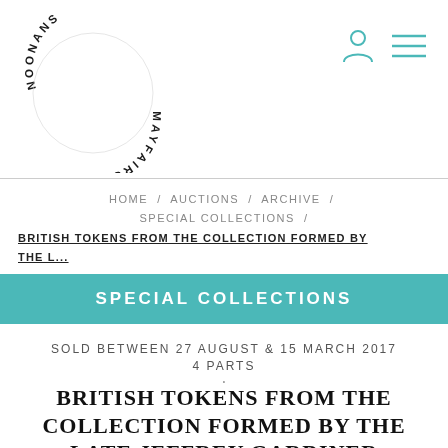[Figure (logo): Noonan's Mayfair circular logo text arranged in a circle]
HOME / AUCTIONS / ARCHIVE / SPECIAL COLLECTIONS / BRITISH TOKENS FROM THE COLLECTION FORMED BY THE L...
SPECIAL COLLECTIONS
SOLD BETWEEN 27 AUGUST & 15 MARCH 2017
4 PARTS
BRITISH TOKENS FROM THE COLLECTION FORMED BY THE LATE JEFFREY GARDINER
JEFFREY GARDINER